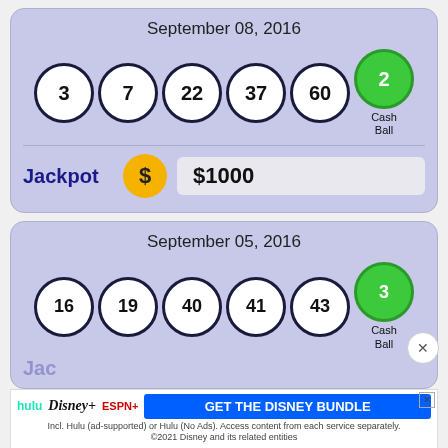September 08, 2016
[Figure (other): Lottery balls showing numbers 3, 7, 22, 37, 60 (white) and 2 (green Cash Ball)]
Jackpot $1000
September 05, 2016
[Figure (other): Lottery balls showing numbers 16, 19, 40, 41, 43 (white) and 3 (green Cash Ball)]
Jackpot
[Figure (other): Disney Bundle advertisement banner with Hulu, Disney+, ESPN+ logos and GET THE DISNEY BUNDLE button]